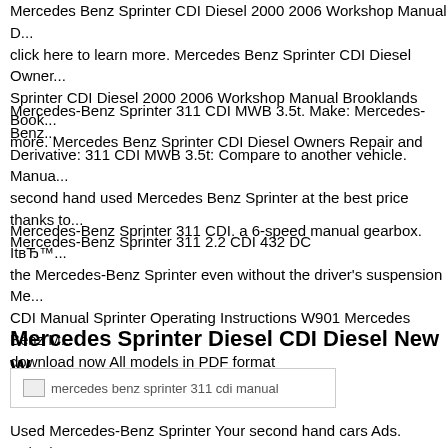Mercedes Benz Sprinter CDI Diesel 2000 2006 Workshop Manual D... click here to learn more. Mercedes Benz Sprinter CDI Diesel Owners Sprinter CDI Diesel 2000 2006 Workshop Manual Brooklands Books more. Mercedes Benz Sprinter CDI Diesel Owners Repair and
Mercedes-Benz Sprinter 311 CDI MWB 3.5t. Make: Mercedes-Benz Derivative: 311 CDI MWB 3.5t: Compare to another vehicle. Manua second hand used Mercedes Benz Sprinter at the best price thanks to Mercedes-Benz Sprinter 311 2.2 CDI 432 DC
Mercedes-Benz Sprinter 311 CDI. a 6-speed manual gearbox. It вЂ™ the Mercedes-Benz Sprinter even without the driver's suspension Me CDI Manual Sprinter Operating Instructions W901 Mercedes Benz M download now All models in PDF format
Mercedes Sprinter Diesel CDI Diesel New W...
[Figure (photo): Broken image placeholder labeled 'mercedes benz sprinter 311 cdi manual']
Used Mercedes-Benz Sprinter Your second hand cars Ads. 15/05/20...